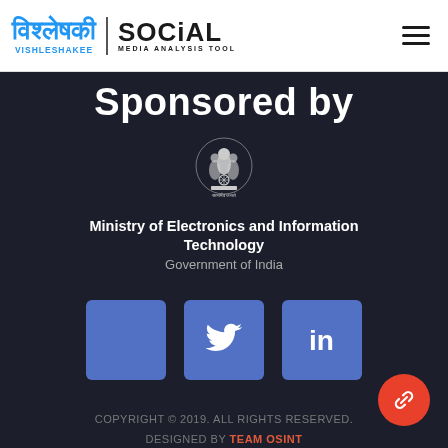[Figure (logo): Vishleshakee Social Media Analysis Tool logo with Hindi text and hamburger menu icon]
Sponsored by
[Figure (logo): Ashoka Emblem / Government of India seal with Devanagari text 'Satyamev Jayate']
Ministry of Electronics and Information Technology
Government of India
[Figure (infographic): Three blue social media icon buttons: blank, Twitter bird icon, LinkedIn 'in' icon]
COPYRIGHT © 2019. ALL RIGHTS RESERVED.
DESIGNED BY TEAM OSINT